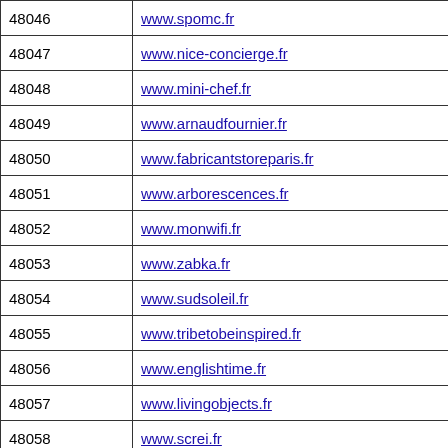| 48046 | www.spomc.fr |
| 48047 | www.nice-concierge.fr |
| 48048 | www.mini-chef.fr |
| 48049 | www.arnaudfournier.fr |
| 48050 | www.fabricantstoreparis.fr |
| 48051 | www.arborescences.fr |
| 48052 | www.monwifi.fr |
| 48053 | www.zabka.fr |
| 48054 | www.sudsoleil.fr |
| 48055 | www.tribetobeinspired.fr |
| 48056 | www.englishtime.fr |
| 48057 | www.livingobjects.fr |
| 48058 | www.screi.fr |
| 48059 | www.callofdefense.fr |
| 48060 | www.agriculturebiologique.fr |
| 48061 | www.agricolashen.fr |